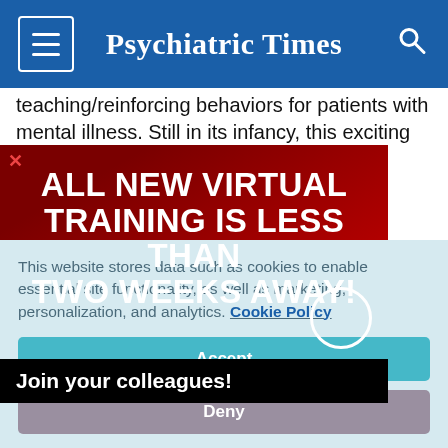Psychiatric Times
teaching/reinforcing behaviors for patients with mental illness. Still in its infancy, this exciting field is rapidly
[Figure (screenshot): Advertisement overlay with dark and red background. White bold uppercase text reads: ALL NEW VIRTUAL TRAINING IS LESS THAN TWO WEEKS AWAY! Below in black bar: Join your colleagues!]
Pharmacological the patient d intermittent
This website stores data such as cookies to enable essential site functionality, as well as marketing, personalization, and analytics. Cookie Policy
Accept
Deny